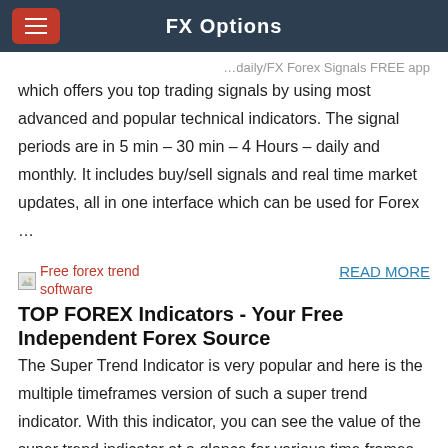FX Options
…daily/FX Forex Signals FREE app which offers you top trading signals by using most advanced and popular technical indicators. The signal periods are in 5 min – 30 min – 4 Hours – daily and monthly. It includes buy/sell signals and real time market updates, all in one interface which can be used for Forex …
READ MORE
[Figure (photo): Free forex trend software thumbnail image]
Free forex trend software
TOP FOREX Indicators - Your Free Independent Forex Source
The Super Trend Indicator is very popular and here is the multiple timeframes version of such a super trend indicator. With this indicator, you can see the value of the super trend indicator at a glance for various time frames. Additionally, with this ind
[Figure (photo): Free forex trend thumbnail image]
READ MORE